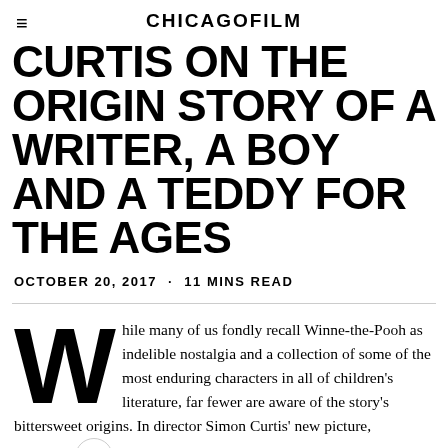CHICAGOFILM
CURTIS ON THE ORIGIN STORY OF A WRITER, A BOY AND A TEDDY FOR THE AGES
OCTOBER 20, 2017 · 11 MINS READ
While many of us fondly recall Winne-the-Pooh as indelible nostalgia and a collection of some of the most enduring characters in all of children's literature, far fewer are aware of the story's bittersweet origins. In director Simon Curtis' new picture, Goodbye Christopher Robin, an examination of post-war England